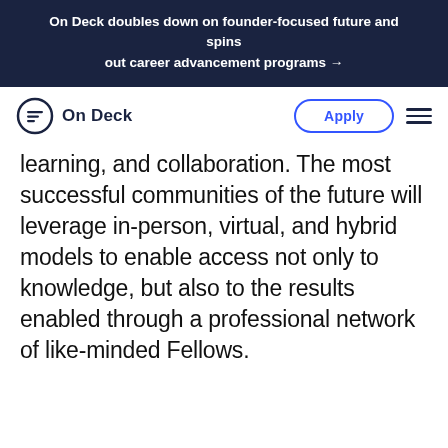On Deck doubles down on founder-focused future and spins out career advancement programs →
[Figure (logo): On Deck logo: circular icon with horizontal lines and text 'On Deck']
learning, and collaboration. The most successful communities of the future will leverage in-person, virtual, and hybrid models to enable access not only to knowledge, but also to the results enabled through a professional network of like-minded Fellows.